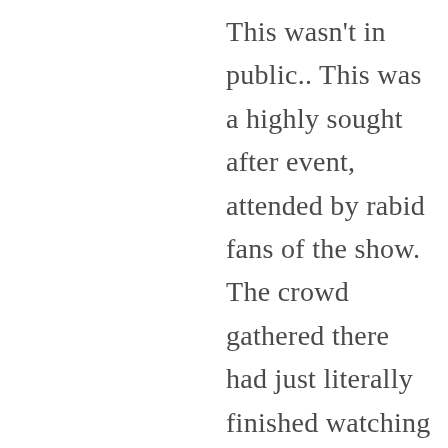This wasn't in public.. This was a highly sought after event, attended by rabid fans of the show. The crowd gathered there had just literally finished watching the show where